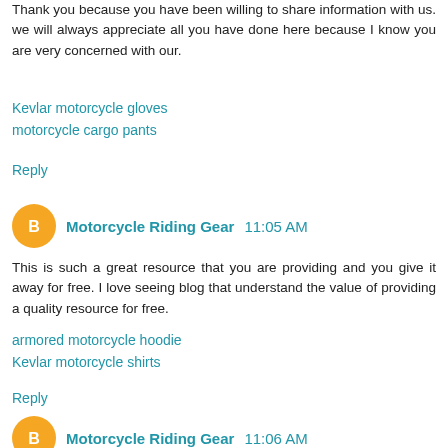Thank you because you have been willing to share information with us. we will always appreciate all you have done here because I know you are very concerned with our.
Kevlar motorcycle gloves
motorcycle cargo pants
Reply
Motorcycle Riding Gear  11:05 AM
This is such a great resource that you are providing and you give it away for free. I love seeing blog that understand the value of providing a quality resource for free.
armored motorcycle hoodie
Kevlar motorcycle shirts
Reply
Motorcycle Riding Gear  11:06 AM
I like your post. It is good to see you verbalize from the heart and clarity on this important subject can be easily